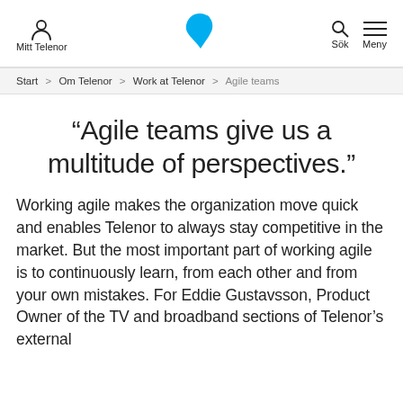Mitt Telenor | Sök | Meny
Start > Om Telenor > Work at Telenor > Agile teams
“Agile teams give us a multitude of perspectives.”
Working agile makes the organization move quick and enables Telenor to always stay competitive in the market. But the most important part of working agile is to continuously learn, from each other and from your own mistakes. For Eddie Gustavsson, Product Owner of the TV and broadband sections of Telenor’s external